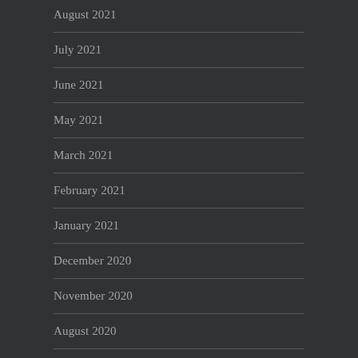August 2021
July 2021
June 2021
May 2021
March 2021
February 2021
January 2021
December 2020
November 2020
August 2020
July 2020